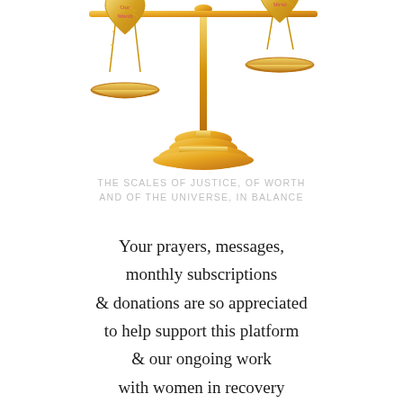[Figure (illustration): A golden scales of justice illustration. The central vertical pole has two hanging scale pans on chains. The left pan hangs lower and holds a golden heart shape with 'Our Worth' written in pink/red text. The right pan is higher and holds a golden heart shape with 'Uni Verse' written in pink/red text. The base of the scales is a golden ornamental stand.]
THE SCALES OF JUSTICE, OF WORTH AND OF THE UNIVERSE, IN BALANCE
Your prayers, messages, monthly subscriptions & donations are so appreciated to help support this platform & our ongoing work with women in recovery